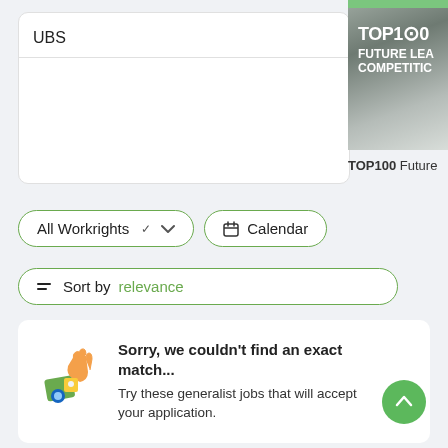UBS
[Figure (other): TOP100 Future Leaders Competition banner with green top bar and grey gradient background]
TOP100 Future
All Workrights ▾
📅 Calendar
≡ Sort by relevance
Sorry, we couldn't find an exact match... Try these generalist jobs that will accept your application.